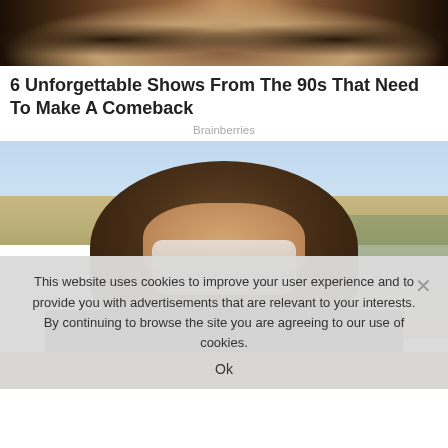[Figure (photo): Top cropped photo showing people in costume or armor with decorative metallic elements]
6 Unforgettable Shows From The 90s That Need To Make A Comeback
Brainberries
[Figure (photo): Photo of a young woman with curly hair wearing a white face mask outdoors, with trees and buildings in the background]
This website uses cookies to improve your user experience and to provide you with advertisements that are relevant to your interests. By continuing to browse the site you are agreeing to our use of cookies.
Ok